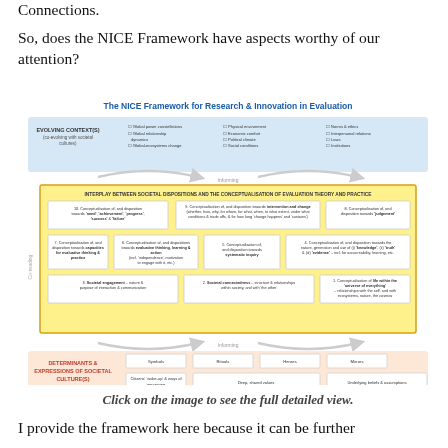Connections.
So, does the NICE Framework have aspects worthy of our attention?
[Figure (infographic): The NICE Framework for Research & Innovation in Evaluation — a diagram showing evolving contexts, interplay between societal dispositions and conceptualisation of evaluation theory and practice, and determinants & expressions of societal cultures. Source: Zenda Ofir, Evaluation for Development, 2016.]
Click on the image to see the full detailed view.
I provide the framework here because it can be further